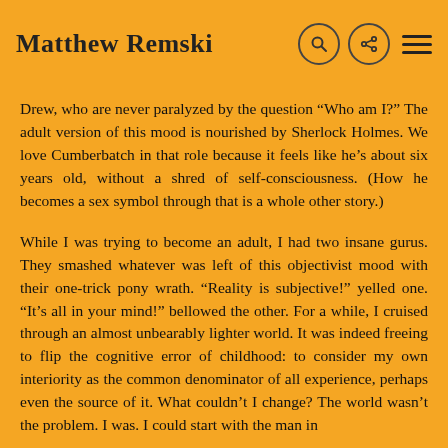Matthew Remski
Drew, who are never paralyzed by the question “Who am I?” The adult version of this mood is nourished by Sherlock Holmes. We love Cumberbatch in that role because it feels like he’s about six years old, without a shred of self-consciousness. (How he becomes a sex symbol through that is a whole other story.)
While I was trying to become an adult, I had two insane gurus. They smashed whatever was left of this objectivist mood with their one-trick pony wrath. “Reality is subjective!” yelled one. “It’s all in your mind!” bellowed the other. For a while, I cruised through an almost unbearably lighter world. It was indeed freeing to flip the cognitive error of childhood: to consider my own interiority as the common denominator of all experience, perhaps even the source of it. What couldn’t I change? The world wasn’t the problem. I was. I could start with the man in